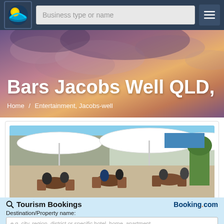[Figure (screenshot): Navigation bar with logo, search box 'Business type or name', and hamburger menu button]
Bars Jacobs Well QLD,
Home / Entertainment, Jacobs-well
[Figure (photo): Outdoor restaurant/bar scene with people dining at wooden tables under white umbrellas]
Tourism Bookings
Booking.com
Destination/Property name:
e.g. city, region, district or specific hotel, home, apartment
Check-in date: